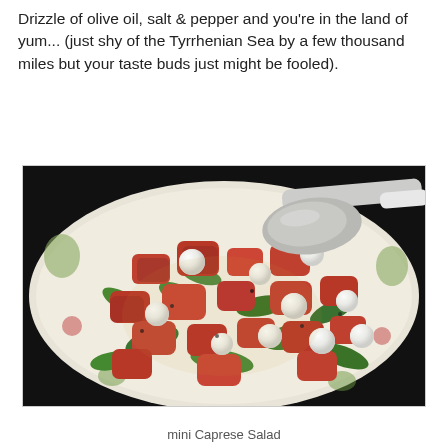Drizzle of olive oil, salt & pepper and you're in the land of yum... (just shy of the Tyrrhenian Sea by a few thousand miles but your taste buds just might be fooled).
[Figure (photo): A colorful caprese salad served on a decorative plate, showing chopped tomatoes, fresh basil leaves, and mini mozzarella balls, drizzled with olive oil and seasoned with pepper, with a serving spoon visible at the top right.]
mini Caprese Salad